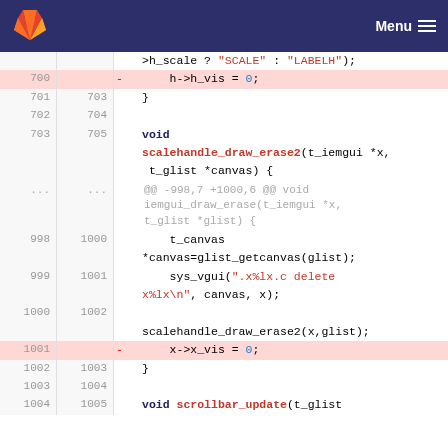GitLab  Menu
[Figure (screenshot): GitLab code diff view showing C source code with deleted lines highlighted in pink. Lines include h_vis assignments, scalehandle_draw_erase2 function, and scrollbar_update function.]